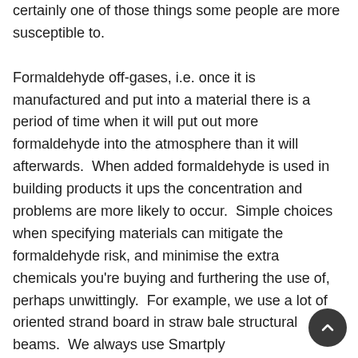certainly one of those things some people are more susceptible to.

Formaldehyde off-gases, i.e. once it is manufactured and put into a material there is a period of time when it will put out more formaldehyde into the atmosphere than it will afterwards.  When added formaldehyde is used in building products it ups the concentration and problems are more likely to occur.  Simple choices when specifying materials can mitigate the formaldehyde risk, and minimise the extra chemicals you're buying and furthering the use of, perhaps unwittingly.  For example, we use a lot of oriented strand board in straw bale structural beams.  We always use Smartply